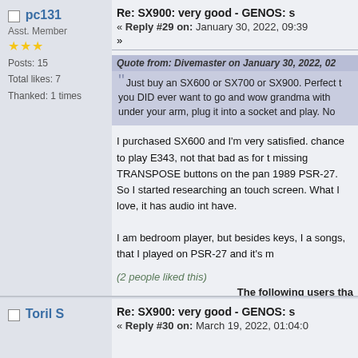pc131 - Asst. Member - Posts: 15 - Total likes: 7 - Thanked: 1 times
Re: SX900: very good - GENOS: s
« Reply #29 on: January 30, 2022, 09:39
»
Quote from: Divemaster on January 30, 2022, 02
Just buy an SX600 or SX700 or SX900. Perfect t you DID ever want to go and wow grandma with under your arm, plug it into a socket and play. No
I purchased SX600 and I'm very satisfied. chance to play E343, not that bad as for t missing TRANSPOSE buttons on the pan 1989 PSR-27. So I started researching an touch screen. What I love, it has audio int have.
I am bedroom player, but besides keys, I a songs, that I played on PSR-27 and it's m
(2 people liked this)
The following users tha
Toril S
Re: SX900: very good - GENOS: s
« Reply #30 on: March 19, 2022, 01:04:0